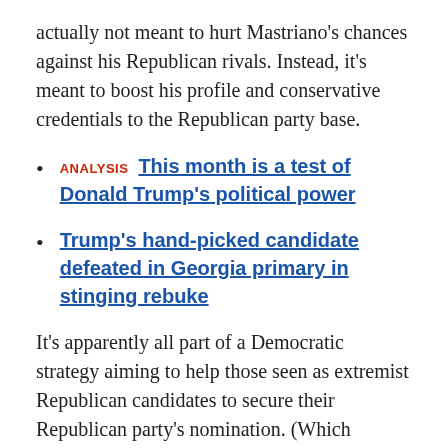actually not meant to hurt Mastriano's chances against his Republican rivals. Instead, it's meant to boost his profile and conservative credentials to the Republican party base.
ANALYSIS  This month is a test of Donald Trump's political power
Trump's hand-picked candidate defeated in Georgia primary in stinging rebuke
It's apparently all part of a Democratic strategy aiming to help those seen as extremist Republican candidates to secure their Republican party's nomination. (Which Mastriano did win.)
The hope for Democrats is that those extreme Republican candidates would be much easier for